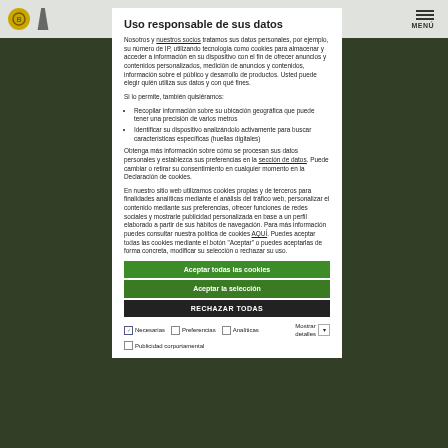Uso responsable de sus datos
Nosotros y nuestros socios tratamos sus datos personales, por ejemplo, su número de IP, utilizando tecnología como cookies para almacenar y acceder a información en su dispositivo con el fin de ofrecer anuncios y contenidos personalizados, medición de anuncios y contenidos, información sobre el público y desarrollo de productos. Usted puede elegir quién utiliza sus datos y con qué fines.
Si lo permite, también quisiéramos:
Recopilar información sobre su ubicación geográfica que puede tener una precisión de varios metros
Identificar su dispositivo analizándolo activamente para buscar características específicas (huellas digitales)
Obtenga más información sobre cómo se procesan sus datos personales y establezca sus preferencias en la sección de datos. Puede cambiar o retirar su consentimiento en cualquier momento en la Declaración de cookies.
En nuestro sitio web utilizamos cookies propias y de terceros para finalidades analíticas mediante el análisis del tráfico web, personalizar el contenido mediante sus preferencias, ofrecer funciones de redes sociales y mostrarle publicidad personalizada en base a un perfil elaborado a partir de sus hábitos de navegación. Para más información puedes consultar nuestra política de cookies AQUÍ. Puedes aceptar todas las cookies mediante el botón "Aceptar" o puedes aceptarlas de forma concreta, modificar su selección o rechazar su uso.
Aceptar todas las cookies
Aceptar la selección
RECHAZAR TODAS
Necesarias   Preferencias   Analíticas   Mostrar detalles   Publicidad corportamental